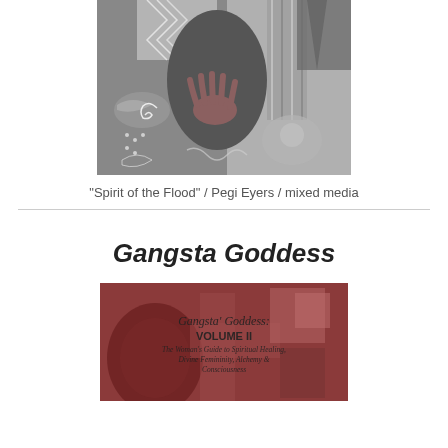[Figure (photo): Black and white mixed media artwork showing a figure with patterned fabric, tribal motifs, and hand detail. Title: Spirit of the Flood by Pegi Eyers.]
"Spirit of the Flood" / Pegi Eyers / mixed media
[Figure (photo): Book cover image of 'Gangsta' Goddess: VOLUME II - The Woman's Guide to Spiritual Healing, Divine Femininity, Alchemy & Consciousness', shown in reddish-brown tones.]
Gangsta Goddess